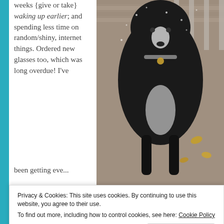weeks {give or take} waking up earlier; and spending less time on random/shiny, internet things. Ordered new glasses too, which was long overdue! I've been getting eve...
[Figure (photo): A black and white Border Collie dog standing on a wooden deck, looking at the camera. There are fallen leaves visible on the deck. The dog is wearing a collar with tags.]
Privacy & Cookies: This site uses cookies. By continuing to use this website, you agree to their use.
To find out more, including how to control cookies, see here: Cookie Policy